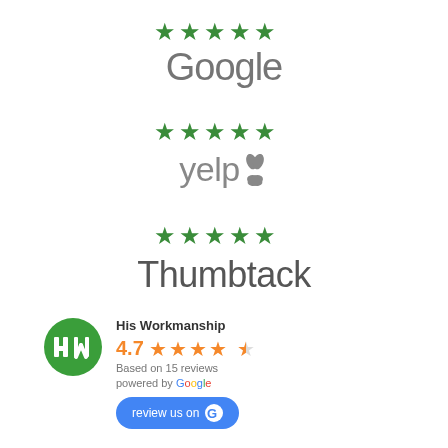[Figure (logo): Five green stars above the Google logo text]
[Figure (logo): Five green stars above the Yelp logo text with burst icon]
[Figure (logo): Five green stars above the Thumbtack logo text]
[Figure (infographic): His Workmanship Google review widget: green HW icon, 4.7 rating with orange stars, Based on 15 reviews, powered by Google, review us on Google button]